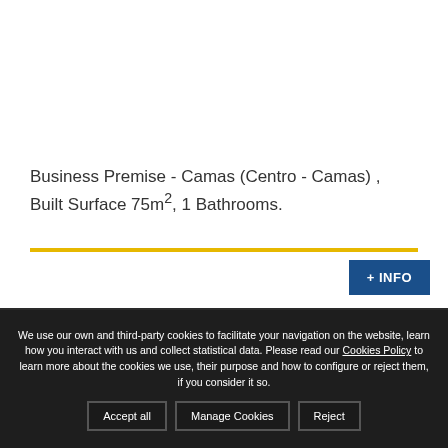Business Premise - Camas (Centro - Camas) , Built Surface 75m², 1 Bathrooms.
We use our own and third-party cookies to facilitate your navigation on the website, learn how you interact with us and collect statistical data. Please read our Cookies Policy to learn more about the cookies we use, their purpose and how to configure or reject them, if you consider it so.
Accept all | Manage Cookies | Reject